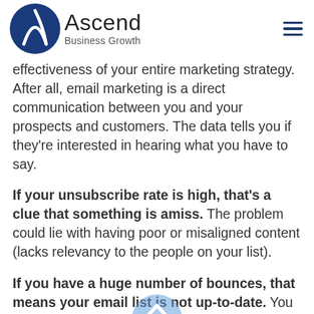Ascend Business Growth
effectiveness of your entire marketing strategy. After all, email marketing is a direct communication between you and your prospects and customers. The data tells you if they're interested in hearing what you have to say.
If your unsubscribe rate is high, that's a clue that something is amiss. The problem could lie with having poor or misaligned content (lacks relevancy to the people on your list).
If you have a huge number of bounces, that means your email list is not up-to-date. You need to take action to ensure you're sending to valid emails and people that are interested